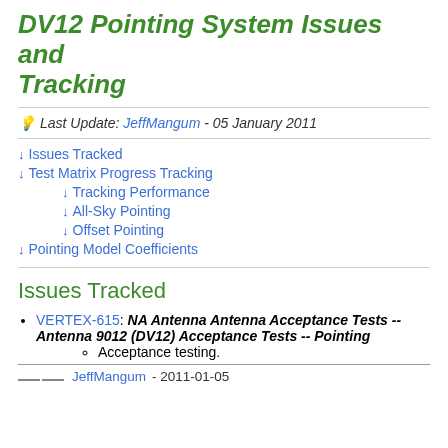DV12 Pointing System Issues and Tracking
💡 Last Update: JeffMangum - 05 January 2011
↓ Issues Tracked
↓ Test Matrix Progress Tracking
↓ Tracking Performance
↓ All-Sky Pointing
↓ Offset Pointing
↓ Pointing Model Coefficients
Issues Tracked
VERTEX-615: NA Antenna Antenna Acceptance Tests -- Antenna 9012 (DV12) Acceptance Tests -- Pointing
Acceptance testing.
-- JeffMangum - 2011-01-05